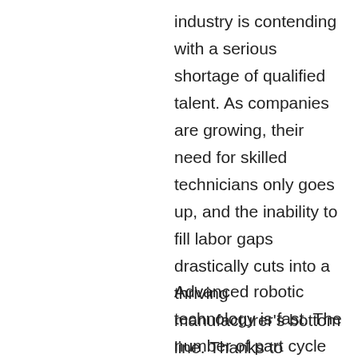industry is contending with a serious shortage of qualified talent. As companies are growing, their need for skilled technicians only goes up, and the inability to fill labor gaps drastically cuts into a thriving manufacturer's bottom line. Thanks to technology, human limitations don't have to slow production.
Advanced robotic technology is fast. The number of part cycle times is greatly reduced compared